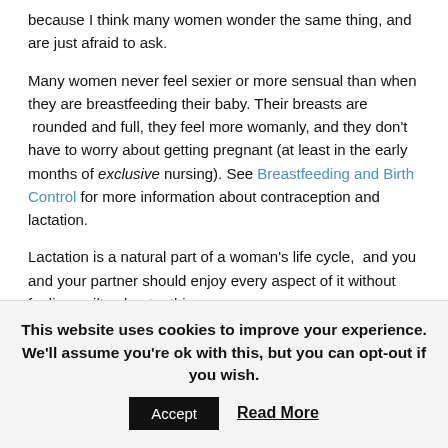because I think many women wonder the same thing, and are just afraid to ask.
Many women never feel sexier or more sensual than when they are breastfeeding their baby. Their breasts are rounded and full, they feel more womanly, and they don't have to worry about getting pregnant (at least in the early months of exclusive nursing). See Breastfeeding and Birth Control for more information about contraception and lactation.
Lactation is a natural part of a woman's life cycle, and you and your partner should enjoy every aspect of it without feeling guilty about a thing.
Anne Smith, IBCLC
Breastfeeding Basics
This website uses cookies to improve your experience. We'll assume you're ok with this, but you can opt-out if you wish.
Accept | Read More